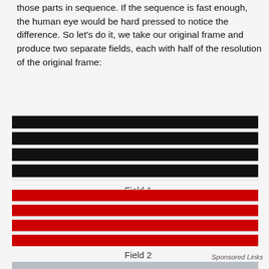those parts in sequence. If the sequence is fast enough, the human eye would be hard pressed to notice the difference. So let's do it, we take our original frame and produce two separate fields, each with half of the resolution of the original frame:
[Figure (illustration): Field 1: four horizontal black stripes on light grey background representing interlaced video field 1]
Field 1
[Figure (illustration): Field 2: four horizontal red stripes on light grey background representing interlaced video field 2]
Field 2
Sponsored Links
[Figure (photo): Photo of a real estate sign reading SOLD in bold red letters, with a decorative post finial and trees in the background against an overcast sky]